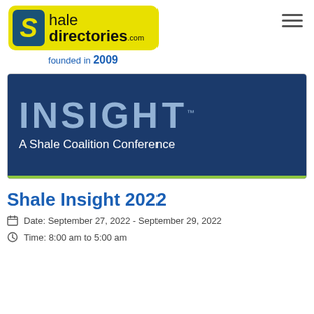[Figure (logo): ShalDirectories.com logo on yellow rounded background with stylized S icon, with 'founded in 2009' tagline below]
[Figure (photo): INSIGHT - A Shale Coalition Conference banner with dark blue background and large light-blue INSIGHT text, green bottom border]
Shale Insight 2022
Date: September 27, 2022 - September 29, 2022
Time: 8:00 am to 5:00 am